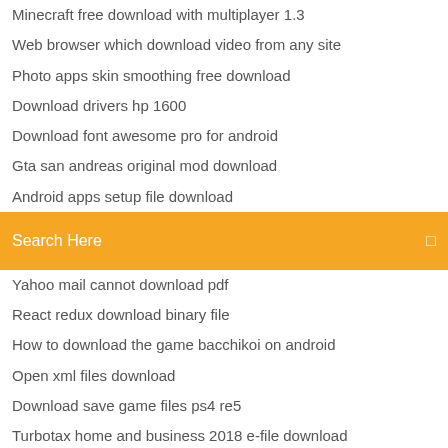Minecraft free download with multiplayer 1.3
Web browser which download video from any site
Photo apps skin smoothing free download
Download drivers hp 1600
Download font awesome pro for android
Gta san andreas original mod download
Android apps setup file download
Search Here
Yahoo mail cannot download pdf
React redux download binary file
How to download the game bacchikoi on android
Open xml files download
Download save game files ps4 re5
Turbotax home and business 2018 e-file download
Download a full site mapsite in pdf
Mobile security apps free download
Follow that bird cd soundtrack torrent download
Sims 4 mods download